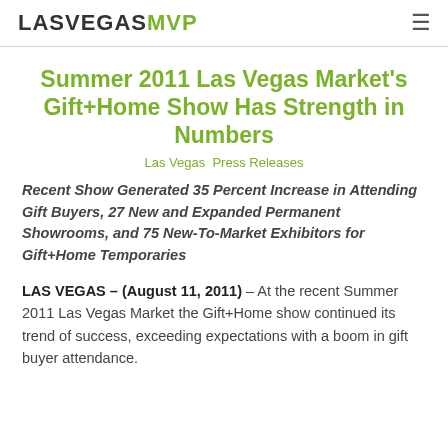LASVEGAS MVP
Summer 2011 Las Vegas Market's Gift+Home Show Has Strength in Numbers
Las Vegas  Press Releases
Recent Show Generated 35 Percent Increase in Attending Gift Buyers, 27 New and Expanded Permanent Showrooms, and 75 New-To-Market Exhibitors for Gift+Home Temporaries
LAS VEGAS – (August 11, 2011) – At the recent Summer 2011 Las Vegas Market the Gift+Home show continued its trend of success, exceeding expectations with a boom in gift buyer attendance.